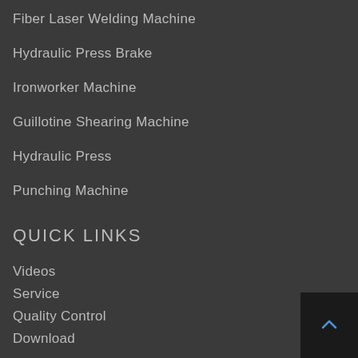Fiber Laser Welding Machine
Hydraulic Press Brake
Ironworker Machine
Guillotine Shearing Machine
Hydraulic Press
Punching Machine
QUICK LINKS
Videos
Service
Quality Control
Download
Training
FAQ
Showroom